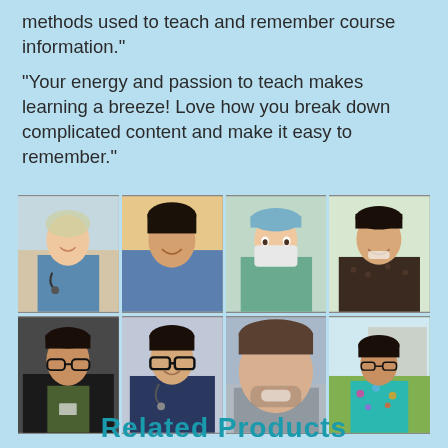methods used to teach and remember course information."
"Your energy and passion to teach makes learning a breeze! Love how you break down complicated content and make it easy to remember."
[Figure (photo): Grid of 8 photos showing medical/nursing students and professionals — nurses in scrubs, person in surgical mask and cap, smiling young adults, one person outdoors near a building.]
Related Products